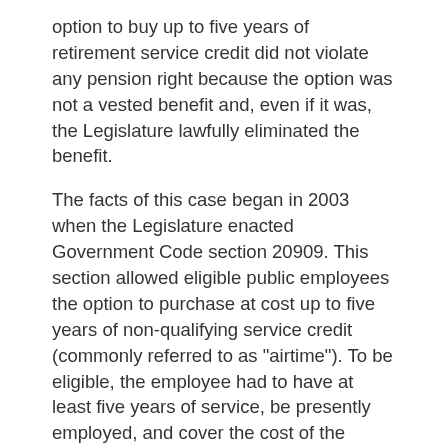option to buy up to five years of retirement service credit did not violate any pension right because the option was not a vested benefit and, even if it was, the Legislature lawfully eliminated the benefit.
The facts of this case began in 2003 when the Legislature enacted Government Code section 20909. This section allowed eligible public employees the option to purchase at cost up to five years of non-qualifying service credit (commonly referred to as "airtime"). To be eligible, the employee had to have at least five years of service, be presently employed, and cover the cost of the increased benefit due to the additional service credit.
This option was available to eligible employees from January 1, 2003 through the end of 2012. In 2012, the Legislature enacted the Public Employees' Pension Reform Act of 2013 ("PEPRA"), which eliminated the option provided under section 20909, effective January 1, 2013. PEPRA...